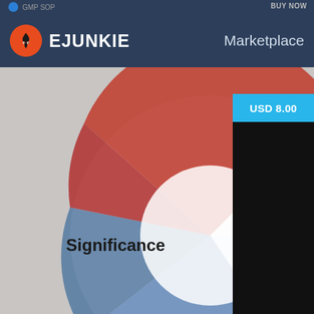GMP SOP   BUY NOW
[Figure (logo): E-Junkie marketplace logo with flame icon and text EJUNKIE, with Marketplace label on the right]
[Figure (photo): Product image showing a pie chart divided into segments labeled Significance and Corrective action with a DNA helix graphic, partially cut off on the right by a black panel showing USD 8.00 price badge]
VAL-010 Revalidation Procedure
GMP SOP
BUY NOW
[Figure (photo): Product image showing green/teal pharmaceutical capsule pills in close-up, with USD 8.00 price badge in top right corner]